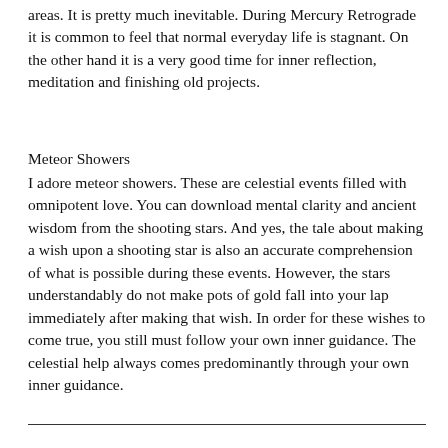areas. It is pretty much inevitable. During Mercury Retrograde it is common to feel that normal everyday life is stagnant. On the other hand it is a very good time for inner reflection, meditation and finishing old projects.
Meteor Showers
I adore meteor showers. These are celestial events filled with omnipotent love. You can download mental clarity and ancient wisdom from the shooting stars. And yes, the tale about making a wish upon a shooting star is also an accurate comprehension of what is possible during these events. However, the stars understandably do not make pots of gold fall into your lap immediately after making that wish. In order for these wishes to come true, you still must follow your own inner guidance. The celestial help always comes predominantly through your own inner guidance.